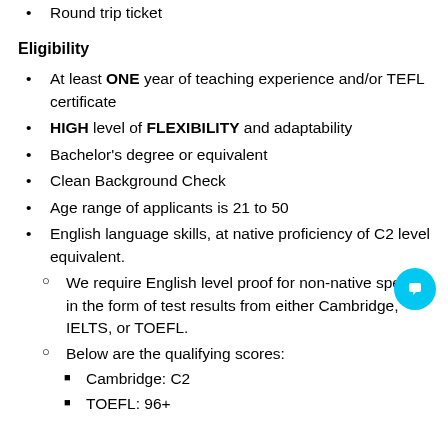Round trip ticket
Eligibility
At least ONE year of teaching experience and/or TEFL certificate
HIGH level of FLEXIBILITY and adaptability
Bachelor's degree or equivalent
Clean Background Check
Age range of applicants is 21 to 50
English language skills, at native proficiency of C2 level equivalent.
We require English level proof for non-native speaker in the form of test results from either Cambridge, IELTS, or TOEFL.
Below are the qualifying scores:
Cambridge: C2
TOEFL: 96+